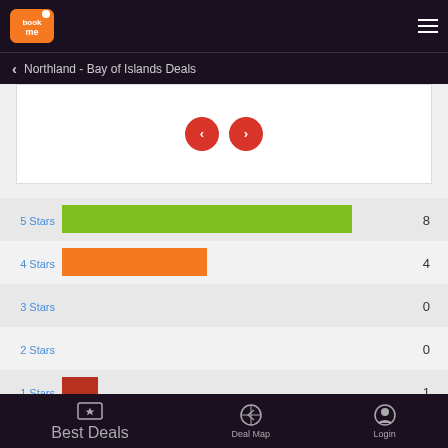book me logo + hamburger menu
Northland - Bay of Islands Deals
[Figure (screenshot): Carousel navigation area with left and right red circular arrow buttons]
[Figure (bar-chart): Star ratings]
Best Deals   Deal Map   Login